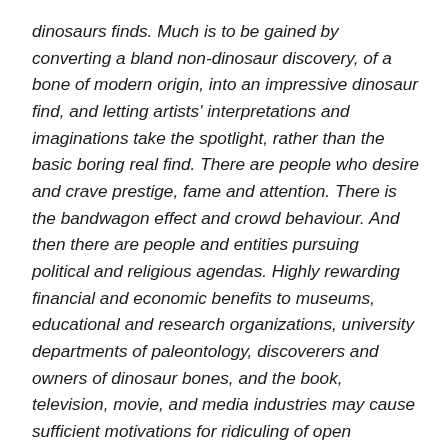dinosaurs finds. Much is to be gained by converting a bland non-dinosaur discovery, of a bone of modern origin, into an impressive dinosaur find, and letting artists' interpretations and imaginations take the spotlight, rather than the basic boring real find. There are people who desire and crave prestige, fame and attention. There is the bandwagon effect and crowd behaviour. And then there are people and entities pursuing political and religious agendas. Highly rewarding financial and economic benefits to museums, educational and research organizations, university departments of paleontology, discoverers and owners of dinosaur bones, and the book, television, movie, and media industries may cause sufficient motivations for ridiculing of open questioning and for suppression of honest investigation." -David Wozney, "Dinosaurs: Science or Science Fiction".